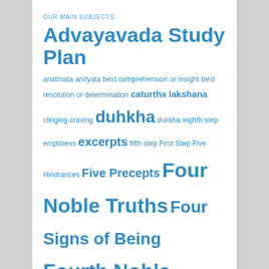OUR MAIN SUBJECTS:
Advayavada Study Plan
anatmata anityata best comprehension or insight best resolution or determination caturtha lakshana clinging craving duhkha dukkha eighth step emptiness excerpts fifth step First Step Five Hindrances Five Precepts Four Noble Truths Four Signs of Being Fourth Noble Truth Fourth Sign of Being fourth step interdependent origination karma Madhyamaka madhyamaka-pratityasamutpada Nagarjuna